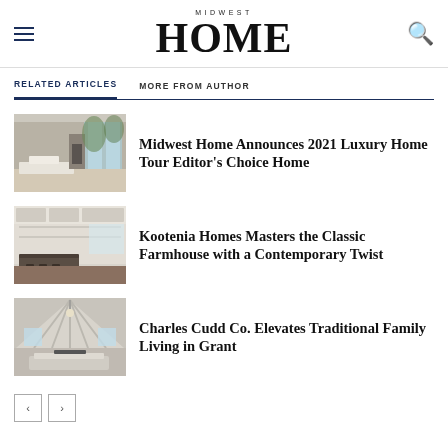MIDWEST HOME
RELATED ARTICLES | MORE FROM AUTHOR
[Figure (photo): Interior living room photo thumbnail for first article]
Midwest Home Announces 2021 Luxury Home Tour Editor’s Choice Home
[Figure (photo): Kitchen farmhouse interior photo thumbnail for second article]
Kootenia Homes Masters the Classic Farmhouse with a Contemporary Twist
[Figure (photo): Cathedral ceiling living room photo thumbnail for third article]
Charles Cudd Co. Elevates Traditional Family Living in Grant